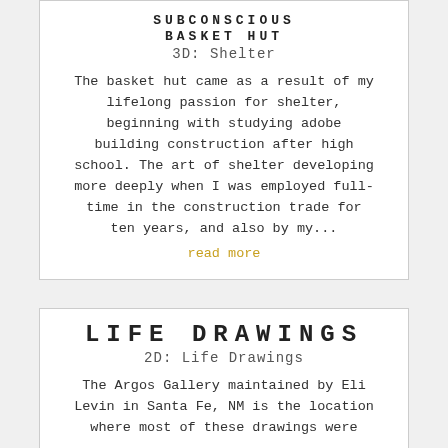SUBCONSCIOUS BASKET HUT
3D: Shelter
The basket hut came as a result of my lifelong passion for shelter, beginning with studying adobe building construction after high school. The art of shelter developing more deeply when I was employed full-time in the construction trade for ten years, and also by my...
read more
LIFE DRAWINGS
2D: Life Drawings
The Argos Gallery maintained by Eli Levin in Santa Fe, NM is the location where most of these drawings were